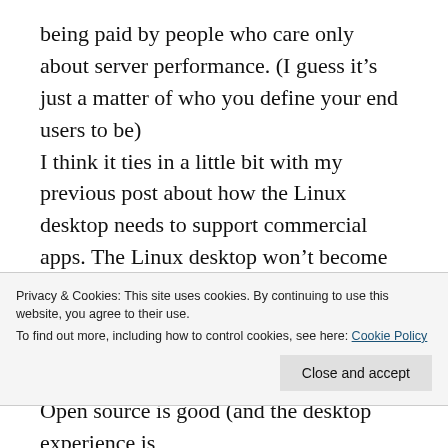being paid by people who care only about server performance. (I guess it's just a matter of who you define your end users to be) I think it ties in a little bit with my previous post about how the Linux desktop needs to support commercial apps. The Linux desktop won't become dominant until someone figures out a way to make money from it. Maybe people can just make money by selling desktop hardware running Linux, but it seems to me that there's a lot more money out there if only people could easily
Privacy & Cookies: This site uses cookies. By continuing to use this website, you agree to their use. To find out more, including how to control cookies, see here: Cookie Policy
Close and accept
Open source is good (and the desktop experience is